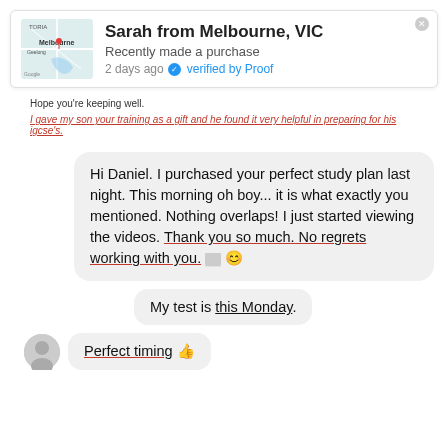[Figure (screenshot): Notification widget showing Sarah from Melbourne, VIC recently made a purchase, 2 days ago, verified by Proof, with a Google Maps thumbnail of Melbourne.]
Hope you're keeping well.
I gave my son your training as a gift and he found it very helpful in preparing for his igcse's.
Hi Daniel. I purchased your perfect study plan last night. This morning oh boy... it is what exactly you mentioned. Nothing overlaps! I just started viewing the videos. Thank you so much. No regrets working with you. 😊
My test is this Monday.
Perfect timing 👍